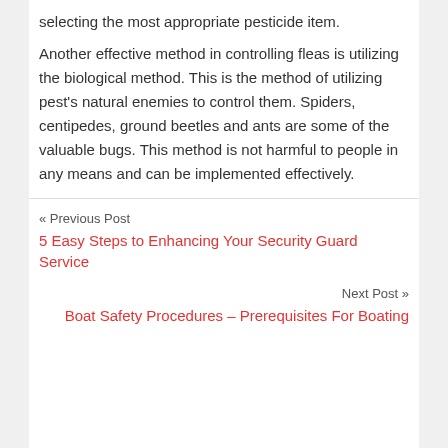selecting the most appropriate pesticide item.
Another effective method in controlling fleas is utilizing the biological method. This is the method of utilizing pest's natural enemies to control them. Spiders, centipedes, ground beetles and ants are some of the valuable bugs. This method is not harmful to people in any means and can be implemented effectively.
« Previous Post
5 Easy Steps to Enhancing Your Security Guard Service
Next Post »
Boat Safety Procedures – Prerequisites For Boating